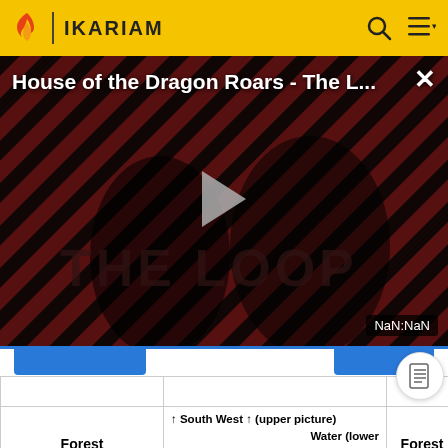IKARIAM
[Figure (screenshot): Video player showing 'House of the Dragon Roars - The L...' with a play button overlay, diagonal red and black striped background, two figures visible, 'THE LOOP' watermark, and NaN:NaN timestamp. Close (X) button in top right.]
| Forest | ↑ South West ↑ (upper picture)
Water (lower picture)
↑ South East ↑ (upper picture) | Forest |